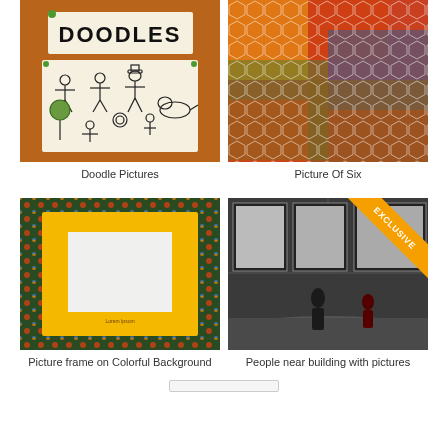[Figure (photo): Book or folder cover with orange/brown background and a white paper pinned showing hand-drawn doodle characters]
Doodle Pictures
[Figure (photo): Colorful abstract art with honeycomb-like network pattern in red, orange, green, yellow, blue]
Picture Of Six
[Figure (photo): A yellow picture frame on a colorful diamond-patterned dark background]
Picture frame on Colorful Background
[Figure (photo): People near a building wall with black and white framed photos, with exclusive ribbon badge]
People near building with pictures